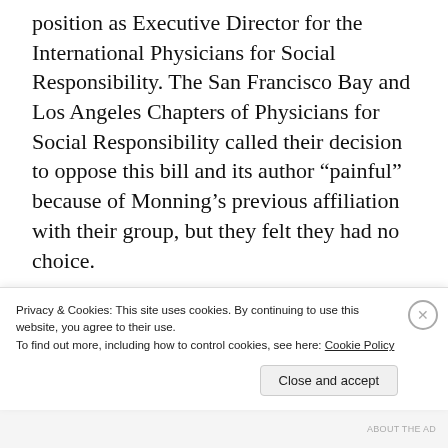position as Executive Director for the International Physicians for Social Responsibility. The San Francisco Bay and Los Angeles Chapters of Physicians for Social Responsibility called their decision to oppose this bill and its author “painful” because of Monning’s previous affiliation with their group, but they felt they had no choice.
PSR reluctantly has concluded that this bill would be at variance with the
Privacy & Cookies: This site uses cookies. By continuing to use this website, you agree to their use.
To find out more, including how to control cookies, see here: Cookie Policy
Close and accept